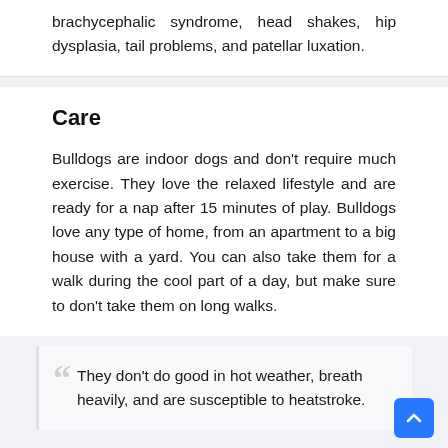brachycephalic syndrome, head shakes, hip dysplasia, tail problems, and patellar luxation.
Care
Bulldogs are indoor dogs and don't require much exercise. They love the relaxed lifestyle and are ready for a nap after 15 minutes of play. Bulldogs love any type of home, from an apartment to a big house with a yard. You can also take them for a walk during the cool part of a day, but make sure to don't take them on long walks.
They don't do good in hot weather, breath heavily, and are susceptible to heatstroke.